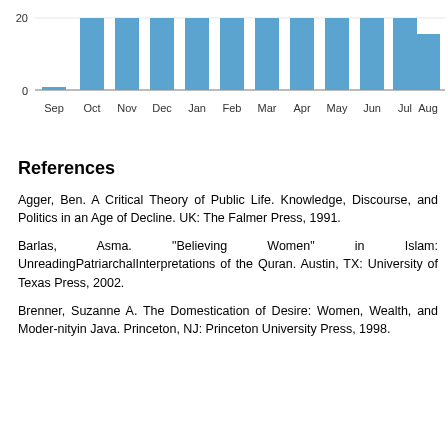[Figure (bar-chart): ]
References
Agger, Ben. A Critical Theory of Public Life. Knowledge, Discourse, and Politics in an Age of Decline. UK: The Falmer Press, 1991.
Barlas, Asma. "Believing Women" in Islam: UnreadingPatriarchalInterpretations of the Quran. Austin, TX: University of Texas Press, 2002.
Brenner, Suzanne A. The Domestication of Desire: Women, Wealth, and Moder-nityin Java. Princeton, NJ: Princeton University Press, 1998.